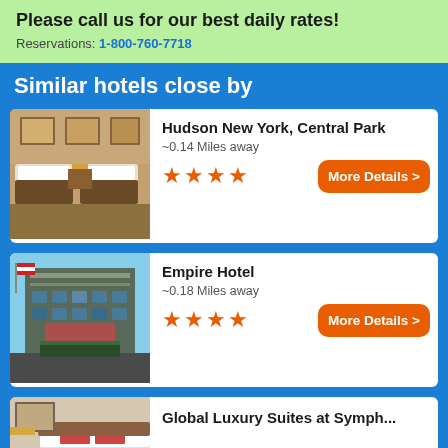Please call us for our best daily rates! Reservations: 1-800-760-7718
Similar hotels close by
[Figure (photo): Hotel room interior with two beds]
Hudson New York, Central Park ~0.14 Miles away ★★★★
[Figure (photo): Empire Hotel exterior building photo]
Empire Hotel ~0.18 Miles away ★★★★
[Figure (photo): Global Luxury Suites hotel room]
Global Luxury Suites at Symph...